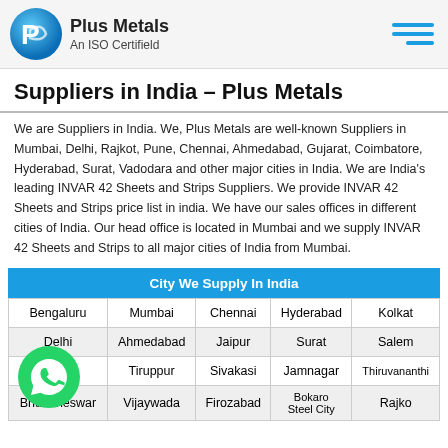Plus Metals An ISO Certifield
Suppliers in India - Plus Metals
We are Suppliers in India. We, Plus Metals are well-known Suppliers in Mumbai, Delhi, Rajkot, Pune, Chennai, Ahmedabad, Gujarat, Coimbatore, Hyderabad, Surat, Vadodara and other major cities in India. We are India's leading INVAR 42 Sheets and Strips Suppliers. We provide INVAR 42 Sheets and Strips price list in india. We have our sales offices in different cities of India. Our head office is located in Mumbai and we supply INVAR 42 Sheets and Strips to all major cities of India from Mumbai.
| City We Supply In India |
| --- |
| Bengaluru | Mumbai | Chennai | Hyderabad | Kolkat |
| Delhi | Ahmedabad | Jaipur | Surat | Salem |
| di | Tiruppur | Sivakasi | Jamnagar | Thiruvananthi |
| Bhubaneswar | Vijaywada | Firozabad | Bokaro Steel City | Rajko |